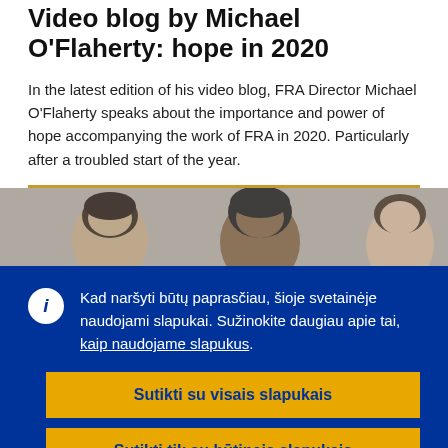Video blog by Michael O'Flaherty: hope in 2020
In the latest edition of his video blog, FRA Director Michael O'Flaherty speaks about the importance and power of hope accompanying the work of FRA in 2020. Particularly after a troubled start of the year.
[Figure (photo): Photo strip showing heads/portraits of multiple people]
Kad naršyti būtų paprasčiau, šioje svetainėje naudojami slapukai. Sužinokite daugiau apie tai, kaip naudojame slapukus.
Sutikti su visais slapukais
Sutikti tik su būtinais slapukais